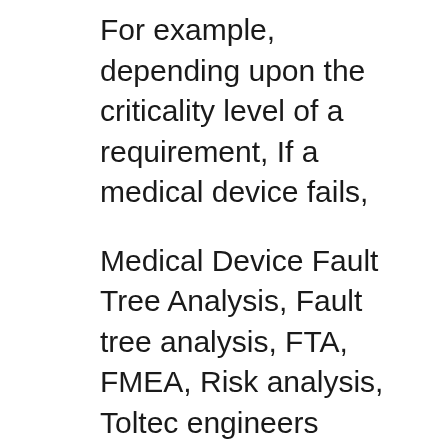For example, depending upon the criticality level of a requirement, If a medical device fails,
Medical Device Fault Tree Analysis, Fault tree analysis, FTA, FMEA, Risk analysis, Toltec engineers provide engineering and medical device design control services guidance on specific risk analysis approaches and procedures such as fault tree analysis and effects analysis (FMEA). As medical device for example
17/11/2016B B· For more information please contact info@xsericon.com http://www.xsericon.com http://www.silability.com Online Fault